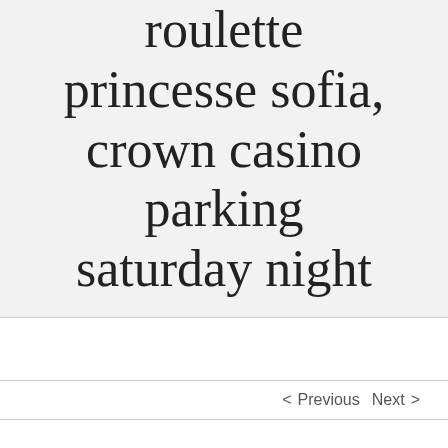roulette princesse sofia, crown casino parking saturday night
< Previous   Next >